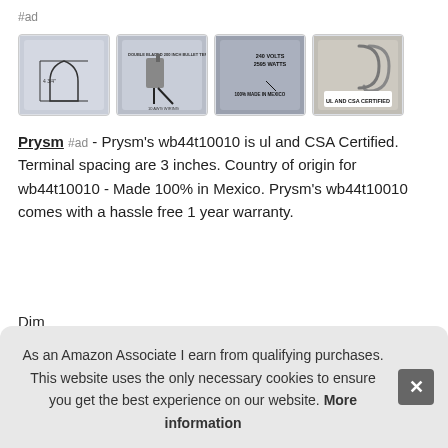#ad
[Figure (photo): Four product thumbnail images of Prysm wb44t10010 heating element showing dimensions, terminals, voltage/wattage specs, and UL/CSA certification]
Prysm #ad - Prysm's wb44t10010 is ul and CSA Certified. Terminal spacing are 3 inches. Country of origin for wb44t10010 - Made 100% in Mexico. Prysm's wb44t10010 comes with a hassle free 1 year warranty.
Dim inches the following part #s: wb44t10010, ea249263, 770349,
As an Amazon Associate I earn from qualifying purchases. This website uses the only necessary cookies to ensure you get the best experience on our website. More information